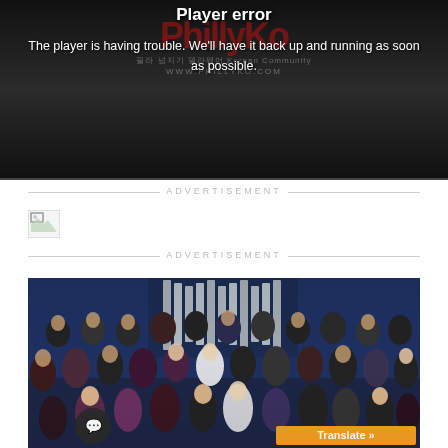[Figure (screenshot): Video player error screen with dark background showing PhillyKo watermark logo. White text reads 'Player error' as title and 'The player is having trouble. We'll have it back up and running as soon as possible.' as message.]
Player error
The player is having trouble. We'll have it back up and running as soon as possible.
ADVERTISEMENT
[Figure (photo): Broken image icon placeholder for advertisement]
ADVERTISEMENT
[Figure (photo): Group photo of Korean community members in formal attire (tuxedos and evening gowns) posing in front of large organ pipes in a church or concert hall setting. A chat widget button is visible in the lower left and a Translate button in the lower right.]